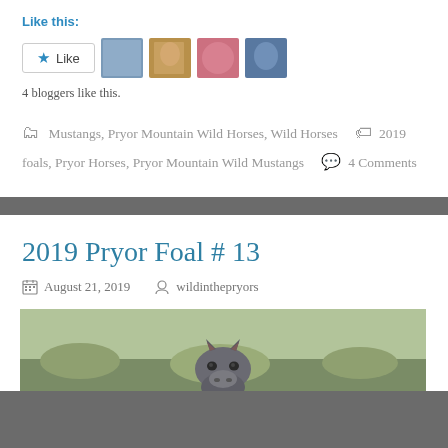Like this:
4 bloggers like this.
Mustangs, Pryor Mountain Wild Horses, Wild Horses   2019 foals, Pryor Horses, Pryor Mountain Wild Mustangs   4 Comments
2019 Pryor Foal # 13
August 21, 2019   wildinthepryors
[Figure (photo): Close-up photo of a young dark grey/dun foal facing the camera, with a green and earthy background]